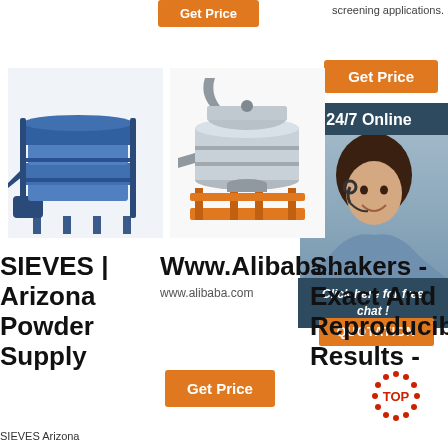screening applications.
[Figure (other): Orange Get Price button at top center]
[Figure (other): Orange Get Price button at right]
24/7 Online
[Figure (photo): Woman with headset smiling, customer service agent]
Click here for free chat !
QUOTATION
[Figure (photo): Blue industrial vibrating sieve/screener machine]
[Figure (photo): Silver/stainless steel industrial sieve screener on orange stand]
SIEVES | Arizona Powder Supply
Www.Alibaba...
www.alibaba.com
Shakers - Exact And Reproducib Results -
[Figure (other): Orange Get Price button at bottom mid]
SIEVES Arizona
[Figure (logo): TOP badge logo in red/orange]